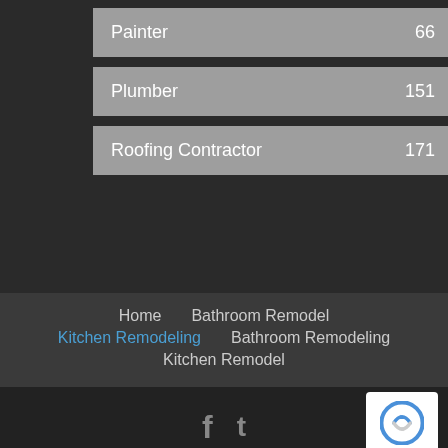Painter 66
Plumber 151
Roofing Contractor 171
Home | Bathroom Remodel | Kitchen Remodeling | Bathroom Remodeling | Kitchen Remodel